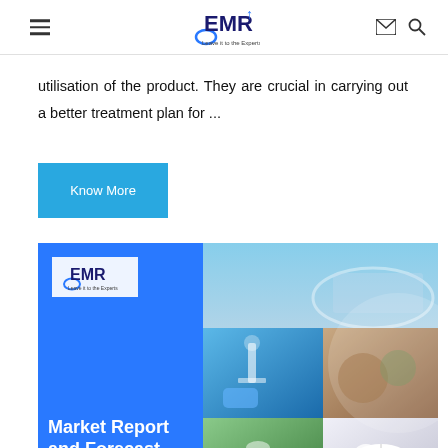EMR — Leave it to the Experts
utilisation of the product. They are crucial in carrying out a better treatment plan for ...
Know More
[Figure (illustration): EMR Market Report and Forecast 2022-2027 cover image with logo on blue background on left and a photo collage on the right showing scientific/medical imagery]